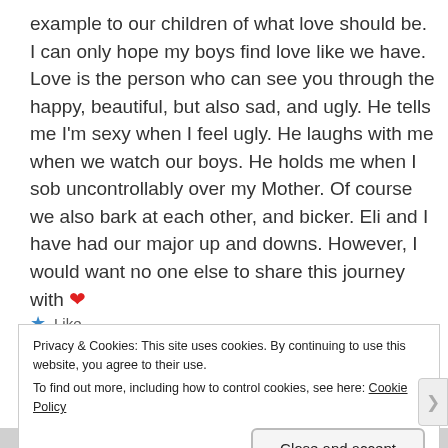example to our children of what love should be. I can only hope my boys find love like we have. Love is the person who can see you through the happy, beautiful, but also sad, and ugly. He tells me I'm sexy when I feel ugly. He laughs with me when we watch our boys. He holds me when I sob uncontrollably over my Mother. Of course we also bark at each other, and bicker. Eli and I have had our major up and downs. However, I would want no one else to share this journey with ❤
★ Like
Reply
Privacy & Cookies: This site uses cookies. By continuing to use this website, you agree to their use.
To find out more, including how to control cookies, see here: Cookie Policy
Close and accept